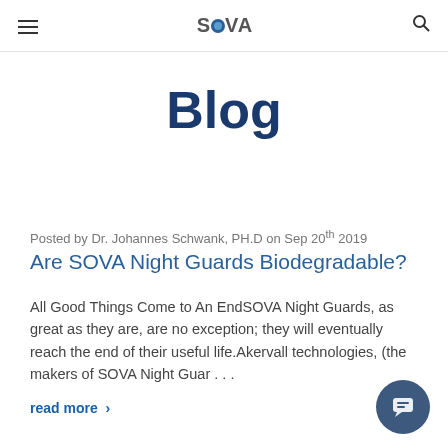S●VA [logo] | hamburger menu | search icon
Blog
Posted by Dr. Johannes Schwank, PH.D on Sep 20th 2019
Are SOVA Night Guards Biodegradable?
All Good Things Come to An EndSOVA Night Guards, as great as they are, are no exception; they will eventually reach the end of their useful life.Akervall technologies, (the makers of SOVA Night Guar . . .
read more ›